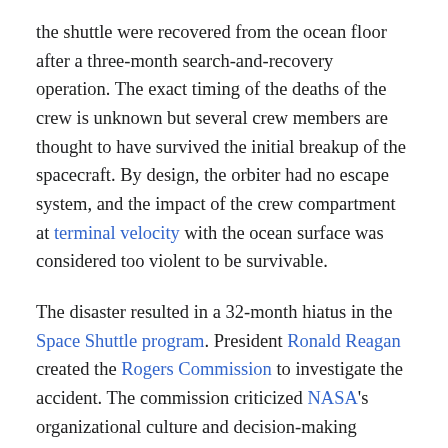the shuttle were recovered from the ocean floor after a three-month search-and-recovery operation. The exact timing of the deaths of the crew is unknown but several crew members are thought to have survived the initial breakup of the spacecraft. By design, the orbiter had no escape system, and the impact of the crew compartment at terminal velocity with the ocean surface was considered too violent to be survivable.
The disaster resulted in a 32-month hiatus in the Space Shuttle program. President Ronald Reagan created the Rogers Commission to investigate the accident. The commission criticized NASA's organizational culture and decision-making processes that had contributed to the accident. Test data since 1977 had revealed a potentially catastrophic flaw in the SRBs' O-rings. Neither NASA, nor Morton Thiokol (the SRB manufacturer), addressed the